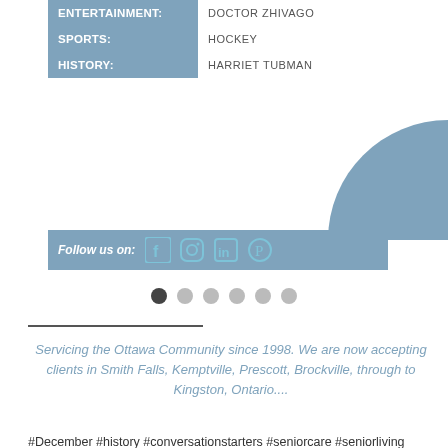| ENTERTAINMENT: | DOCTOR ZHIVAGO |
| SPORTS: | HOCKEY |
| HISTORY: | HARRIET TUBMAN |
Follow us on: [Facebook] [Instagram] [LinkedIn] [Pinterest]
[Figure (other): Navigation dots, first dot selected (dark), remaining five dots grey]
Servicing the Ottawa Community since 1998. We are now accepting clients in Smith Falls, Kemptville, Prescott, Brockville, through to Kingston, Ontario....
#December #history #conversationstarters #seniorcare #seniorliving #healthcare #ottawahomecare #elderlycare #assistedliving #caregiving #homehealthcare #dementia #eldercare #elderly #alzheimers #parkinsons #health #mealassistance #homecare #ottnews